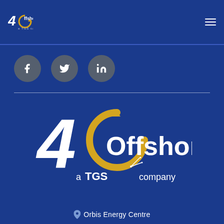[Figure (logo): 4C Offshore – a TGS company small logo in navigation bar, top left]
[Figure (logo): Social media icons: Facebook, Twitter, LinkedIn – gray circles with white icons]
[Figure (logo): Large 4C Offshore – a TGS company logo centered on blue background. '4' in white italic, large 'C' in gold/yellow, 'Offshore' in white, 'a TGS company' below in white/gold with star burst graphic.]
Orbis Energy Centre